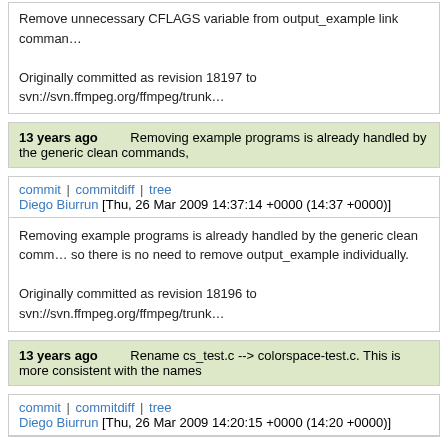Remove unnecessary CFLAGS variable from output_example link command. Originally committed as revision 18197 to svn://svn.ffmpeg.org/ffmpeg/trunk
13 years ago   Removing example programs is already handled by the generic clean commands,
commit | commitdiff | tree
Diego Biurrun [Thu, 26 Mar 2009 14:37:14 +0000 (14:37 +0000)]
Removing example programs is already handled by the generic clean commands, so there is no need to remove output_example individually.

Originally committed as revision 18196 to svn://svn.ffmpeg.org/ffmpeg/trunk
13 years ago   Rename cs_test.c --> colorspace-test.c. This is more consistent with the names
commit | commitdiff | tree
Diego Biurrun [Thu, 26 Mar 2009 14:20:15 +0000 (14:20 +0000)]